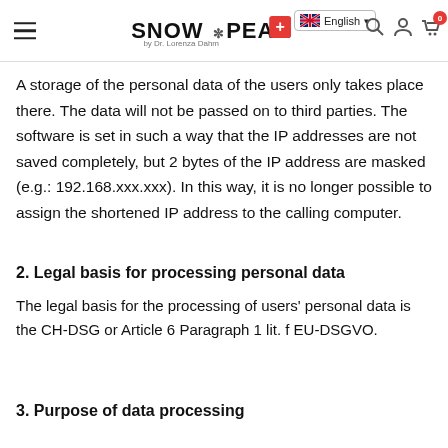SNOW PEARL by Dr. Lorenza Dahm | English | 0
A storage of the personal data of the users only takes place there. The data will not be passed on to third parties. The software is set in such a way that the IP addresses are not saved completely, but 2 bytes of the IP address are masked (e.g.: 192.168.xxx.xxx). In this way, it is no longer possible to assign the shortened IP address to the calling computer.
2. Legal basis for processing personal data
The legal basis for the processing of users' personal data is the CH-DSG or Article 6 Paragraph 1 lit. f EU-DSGVO.
3. Purpose of data processing